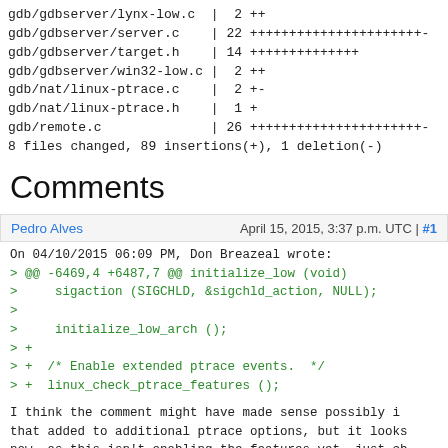gdb/gdbserver/lynx-low.c  |  2 ++
gdb/gdbserver/server.c    | 22 +++++++++++++++++++++++-
gdb/gdbserver/target.h    | 14 ++++++++++++++
gdb/gdbserver/win32-low.c |  2 ++
gdb/nat/linux-ptrace.c    |  2 +-
gdb/nat/linux-ptrace.h    |  1 +
gdb/remote.c              | 26 +++++++++++++++++++++++-
8 files changed, 89 insertions(+), 1 deletion(-)
Comments
Pedro Alves | April 15, 2015, 3:37 p.m. UTC | #1
On 04/10/2015 06:09 PM, Don Breazeal wrote:
> @@ -6469,4 +6487,7 @@ initialize_low (void)
>     sigaction (SIGCHLD, &sigchld_action, NULL);
>
>     initialize_low_arch ();
> +
> +  /* Enable extended ptrace events.  */
> +  linux_check_ptrace_features ();
I think the comment might have made sense possibly i
that added to additional ptrace options, but it looks
now, as this isn't enabling the features yet, just ch
supported.  A comment like
/* Check supported ptrace features. */